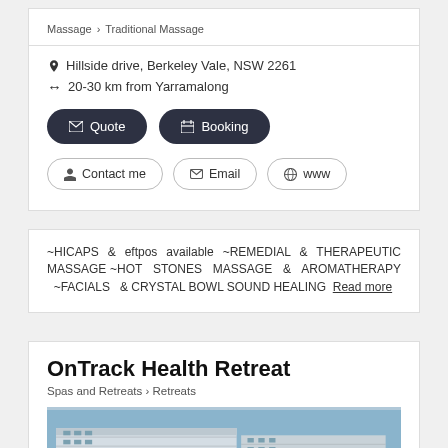Massage › Traditional Massage
Hillside drive, Berkeley Vale, NSW 2261
20-30 km from Yarramalong
Quote
Booking
Contact me
Email
www
~HICAPS & eftpos available ~REMEDIAL & THERAPEUTIC MASSAGE ~HOT STONES MASSAGE & AROMATHERAPY ~FACIALS & CRYSTAL BOWL SOUND HEALING Read more
OnTrack Health Retreat
Spas and Retreats › Retreats
[Figure (photo): Exterior photo of OnTrack Health Retreat building, a multi-storey white/light-coloured complex]